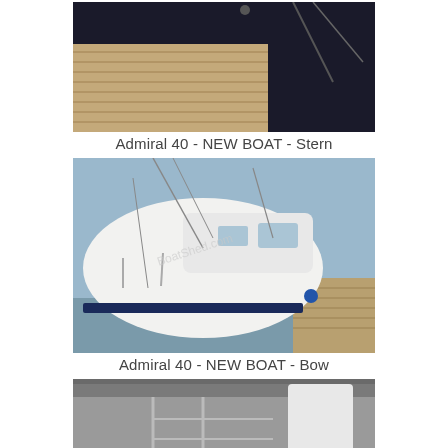[Figure (photo): Photo of Admiral 40 boat stern view, showing deck with wood planking and black hull edge, taken from above at a marina.]
Admiral 40 - NEW BOAT - Stern
[Figure (photo): Photo of Admiral 40 new boat bow view, showing white hull with blue waterline stripe docked at marina with rigging lines visible, watermark 'BoatShed.com'.]
Admiral 40 - NEW BOAT - Bow
[Figure (photo): Partial photo of Admiral 40 showing interior or covered area with metal railings and a white rudder or fin, watermark 'POWERED BY'.]